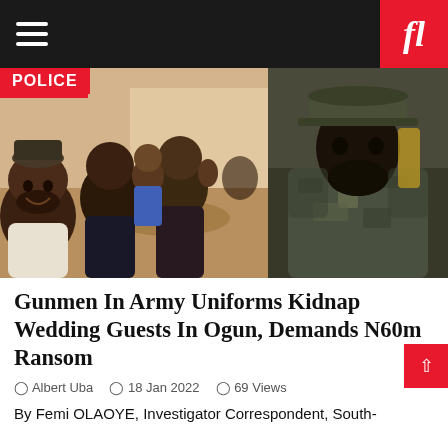fl
[Figure (photo): Two-panel composite photo: left panel shows a group of smiling men seated together at what appears to be a social gathering or restaurant; right panel shows a person in camouflage military uniform and hat, partially silhouetted.]
Gunmen In Army Uniforms Kidnap Wedding Guests In Ogun, Demands N60m Ransom
Albert Uba   18 Jan 2022   69 Views
By Femi OLAOYE, Investigator Correspondent, South-